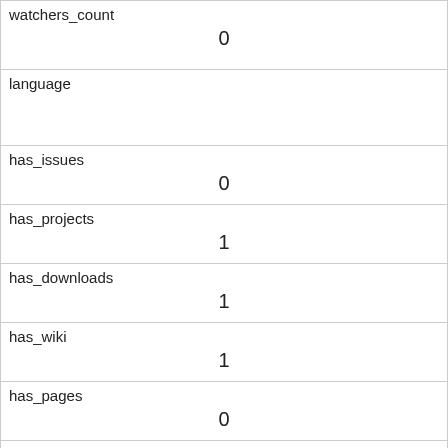| field | value |
| --- | --- |
| watchers_count | 0 |
| language |  |
| has_issues | 0 |
| has_projects | 1 |
| has_downloads | 1 |
| has_wiki | 1 |
| has_pages | 0 |
| forks_count | 0 |
| archived | 0 |
| disabled | 0 |
| open_issues_count |  |